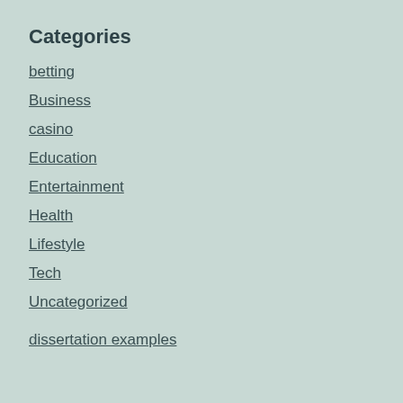Categories
betting
Business
casino
Education
Entertainment
Health
Lifestyle
Tech
Uncategorized
dissertation examples